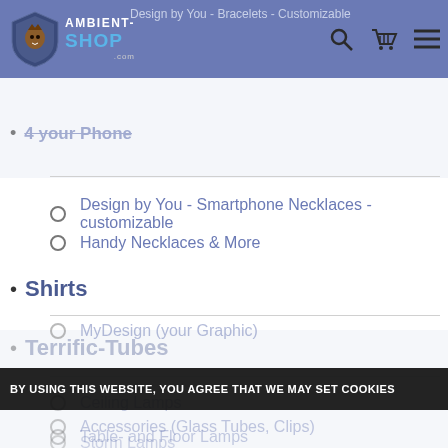Design by You - Bracelets - Customizable | AmbientShop.com
4 your Phone
Design by You - Smartphone Necklaces - customizable
Handy Necklaces & More
Shirts
Terrific-Tubes
Ceiling Lamps
Table- and Floor Lamps
Wallpapers (Theme Foils)
MyDesign (your Graphic)
Accessories (Glass Tubes, Clips)
Storm Lamps
BY USING THIS WEBSITE, YOU AGREE THAT WE MAY SET COOKIES